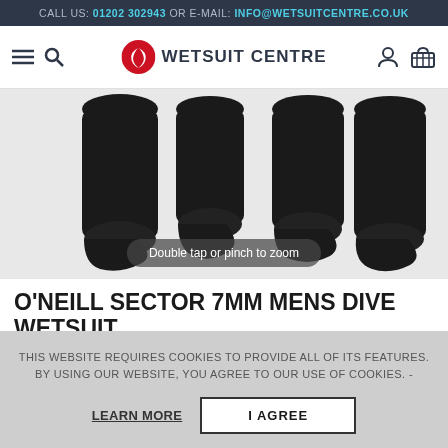CALL US: 01202 302943 OR E-MAIL: INFO@WETSUITCENTRE.CO.UK
[Figure (logo): Wetsuit Centre logo with red swirl icon and bold uppercase text 'WETSUIT CENTRE']
[Figure (photo): Close-up product photo of black wetsuit lower legs and feet, with 'Double tap or pinch to zoom' hint overlay]
O'NEILL SECTOR 7MM MENS DIVE WETSUIT
★★★★☆ 1 Review
THIS WEBSITE REQUIRES COOKIES TO PROVIDE ALL OF ITS FEATURES. BY USING OUR WEBSITE, YOU AGREE TO OUR USE OF COOKIES. -
LEARN MORE | I AGREE